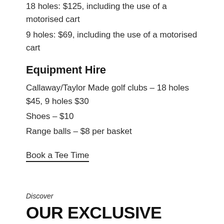18 holes: $125, including the use of a motorised cart
9 holes: $69, including the use of a motorised cart
Equipment Hire
Callaway/Taylor Made golf clubs – 18 holes $45, 9 holes $30
Shoes – $10
Range balls – $8 per basket
Book a Tee Time
Discover
OUR EXCLUSIVE SPECIALS AND PACKAGES